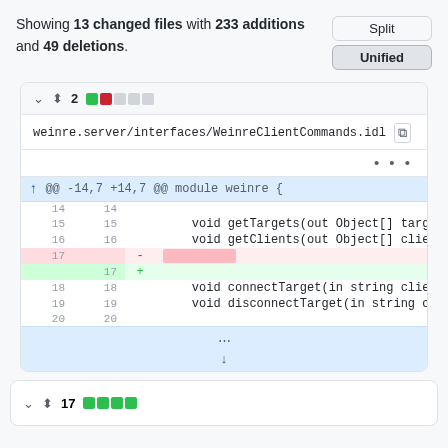Showing 13 changed files with 233 additions and 49 deletions.
[Figure (screenshot): Diff view of weinre.server/interfaces/WeinreClientCommands.idl showing unified diff with lines 14-20, including a deletion on line 17 and addition on line 17.]